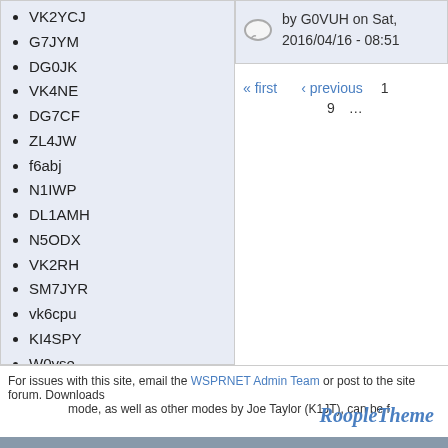VK2YCJ
G7JYM
DG0JK
VK4NE
DG7CF
ZL4JW
f6abj
N1IWP
DL1AMH
N5ODX
VK2RH
SM7JYR
vk6cpu
KI4SPY
W0yse
W2MOQ
kk4div
WA6RSV
K3XR
by G0VUH on Sat, 2016/04/16 - 08:51
« first ‹ previous 1 9 …
For issues with this site, email the WSPRNET Admin Team or post to the site forum. Downloads mode, as well as other modes by Joe Taylor (K1JT), can be f…
RoopleTheme